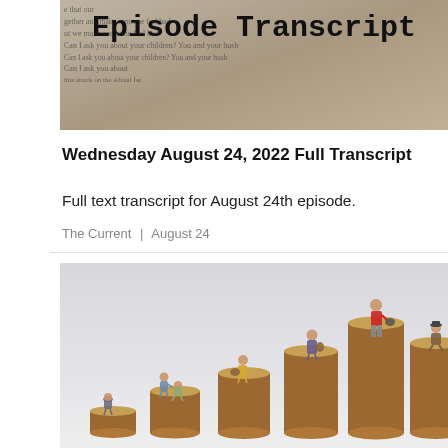[Figure (photo): Episode Transcript banner image with newspaper-style text in background and large bold title 'Episode Transcript' in monospace font]
Wednesday August 24, 2022 Full Transcript
Full text transcript for August 24th episode.
The Current | August 24
[Figure (photo): Miniature figurines of people standing on stacks of coins of increasing height, representing wealth inequality or income disparity. Six stacks of coins from left to right, each progressively taller, with small figurines sitting or standing on top.]